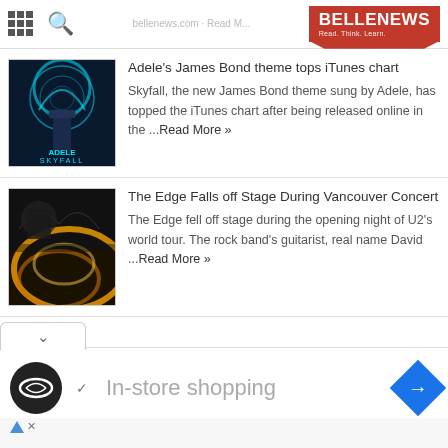BELLENEWS - Read. Think. Learn.
Adele's James Bond theme tops iTunes chart
Skyfall, the new James Bond theme sung by Adele, has topped the iTunes chart after being released online in the ...Read More »
The Edge Falls off Stage During Vancouver Concert
The Edge fell off stage during the opening night of U2's world tour. The rock band's guitarist, real name David ...Read More »
In-store shopping